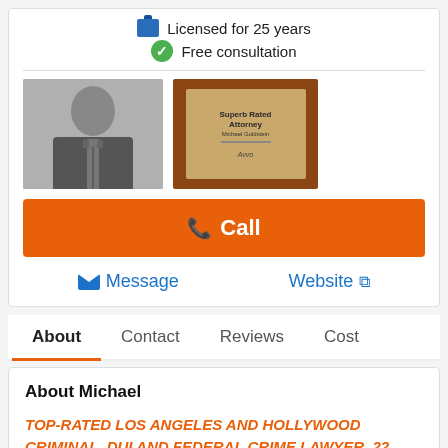Licensed for 25 years
Free consultation
[Figure (photo): Black and white photo of attorney in suit and tie]
[Figure (photo): Award plaque reading Superb Rated Attorney - Michael Goldstein]
Call
Message
Website
About
Contact
Reviews
Cost
About Michael
TOP-RATED LOS ANGELES AND HOLLYWOOD CRIMINAL, DUI AND FEDERAL CRIME LAWYER. 22 YEARS EXPERIENCE.